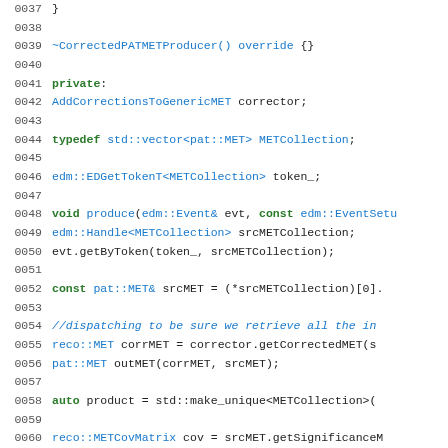[Figure (screenshot): C++ source code snippet with line numbers 0037-0066, showing a private class section with CorrectedPATMETProducer destructor, member variables, typedef, and produce method implementation using edm and pat namespaces.]